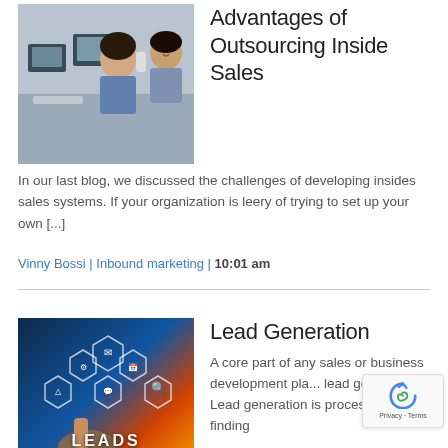[Figure (photo): Two people working at computers while on telephone calls, office setting]
Advantages of Outsourcing Inside Sales
In our last blog, we discussed the challenges of developing insides sales systems. If your organization is leery of trying to set up your own [...]
Vinny Bossi | Inbound marketing | 10:01 am
[Figure (photo): Hand pointing at glowing hexagonal icons with LEADS text and business development concept icons on dark blue and orange background]
Lead Generation
A core part of any sales or business development pla... lead generation. Lead generation is process of finding